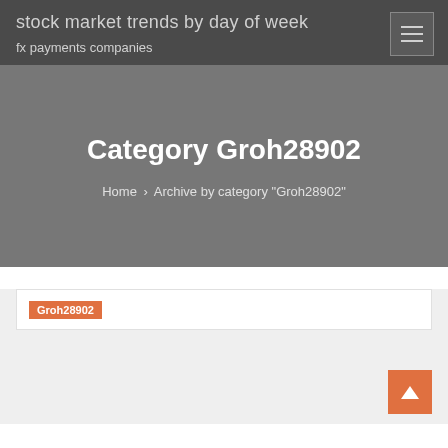stock market trends by day of week
fx payments companies
Category Groh28902
Home › Archive by category "Groh28902"
Groh28902